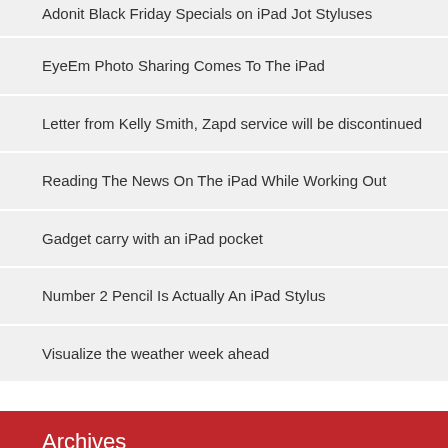Adonit Black Friday Specials on iPad Jot Styluses
EyeEm Photo Sharing Comes To The iPad
Letter from Kelly Smith, Zapd service will be discontinued
Reading The News On The iPad While Working Out
Gadget carry with an iPad pocket
Number 2 Pencil Is Actually An iPad Stylus
Visualize the weather week ahead
Archives
January 2021
December 2013